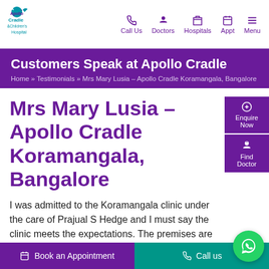[Figure (logo): Apollo Cradle & Children's Hospital logo]
Call Us  Doctors  Hospitals  Appt  Menu
Customers Speak at Apollo Cradle
Home » Testimonials » Mrs Mary Lusia – Apollo Cradle Koramangala, Bangalore
Mrs Mary Lusia – Apollo Cradle Koramangala, Bangalore
Enquire Now
Find Doctor
I was admitted to the Koramangala clinic under the care of Prajual S Hedge and I must say the clinic meets the expectations. The premises are clean and hygiene is
Book an Appointment  Call us